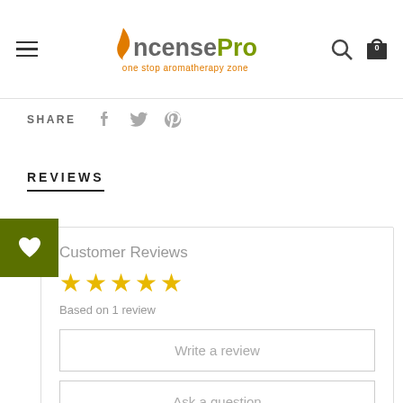Incense Pro — one stop aromatherapy zone
SHARE
REVIEWS
Customer Reviews
★★★★★
Based on 1 review
Write a review
Ask a question